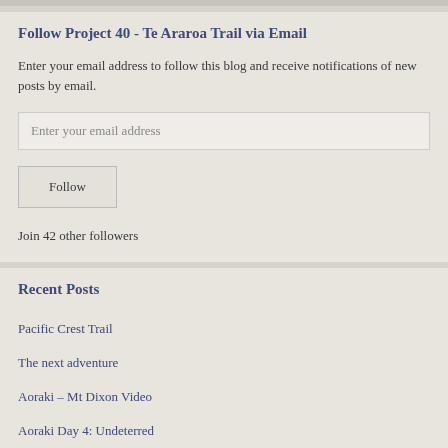Follow Project 40 - Te Araroa Trail via Email
Enter your email address to follow this blog and receive notifications of new posts by email.
Enter your email address
Follow
Join 42 other followers
Recent Posts
Pacific Crest Trail
The next adventure
Aoraki – Mt Dixon Video
Aoraki Day 4: Undeterred